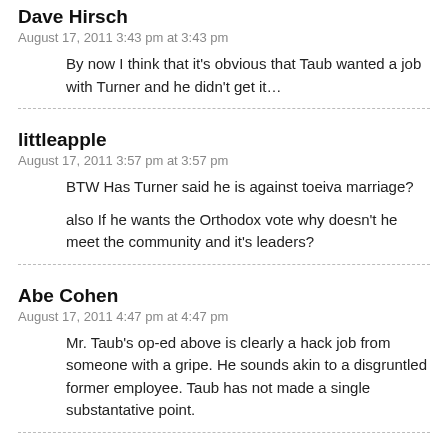Dave Hirsch
August 17, 2011 3:43 pm at 3:43 pm
By now I think that it's obvious that Taub wanted a job with Turner and he didn't get it…
littleapple
August 17, 2011 3:57 pm at 3:57 pm
BTW Has Turner said he is against toeiva marriage?

also If he wants the Orthodox vote why doesn't he meet the community and it's leaders?
Abe Cohen
August 17, 2011 4:47 pm at 4:47 pm
Mr. Taub's op-ed above is clearly a hack job from someone with a gripe. He sounds akin to a disgruntled former employee. Taub has not made a single substantative point.